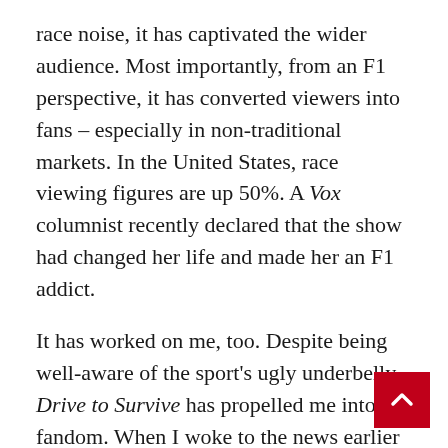race noise, it has captivated the wider audience. Most importantly, from an F1 perspective, it has converted viewers into fans – especially in non-traditional markets. In the United States, race viewing figures are up 50%. A Vox columnist recently declared that the show had changed her life and made her an F1 addict.
It has worked on me, too. Despite being well-aware of the sport's ugly underbelly, Drive to Survive has propelled me into fandom. When I woke to the news earlier this month that Ricciardo had won his first race in three years, I was jubilant. Dissecting the race and reading competing analysis of the latest incident between F1 heavyweights Verstappen and Lewis Hamilton, I was already awaiting the Netflix recount in the forthcoming